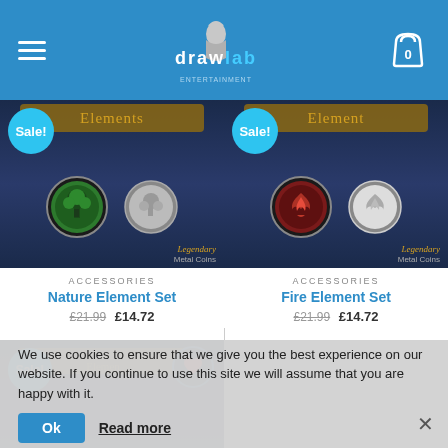drawlab header with hamburger menu, logo, and cart icon with 0 items
[Figure (photo): Nature Element Set product image showing two metal coins with tree/nature design, one green enamel and one silver, with 'Sale!' badge and 'Legendary Metal Coins' branding]
ACCESSORIES
Nature Element Set
£21.99 £14.72
[Figure (photo): Fire Element Set product image showing two metal coins with fire/dragon design, one red enamel and one silver, with 'Sale!' badge and 'Legendary Metal Coins' branding]
ACCESSORIES
Fire Element Set
£21.99 £14.72
[Figure (photo): Air Element Set product image partially visible at bottom, showing 'Sale!' badge and 'Air Element' text overlay]
We use cookies to ensure that we give you the best experience on our website. If you continue to use this site we will assume that you are happy with it.
Ok
Read more